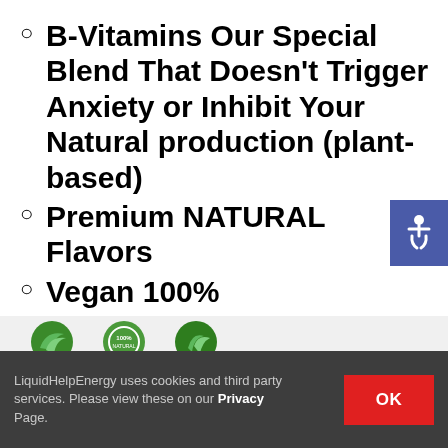B-Vitamins Our Special Blend That Doesn't Trigger Anxiety or Inhibit Your Natural production (plant-based)
Premium NATURAL Flavors
Vegan 100%
Gluten-free
Organic
[Figure (logo): Green certification/organic badges partially visible at bottom of content area]
[Figure (other): Accessibility icon button - white wheelchair symbol on blue background]
LiquidHelpEnergy uses cookies and third party services. Please view these on our Privacy Page.